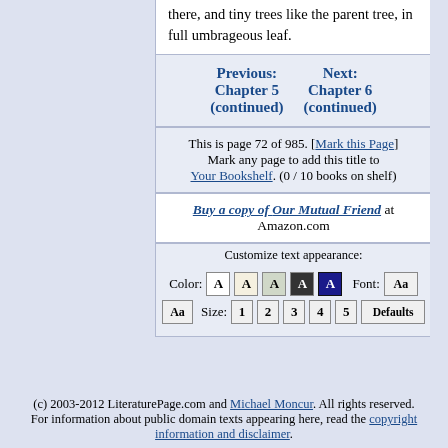there, and tiny trees like the parent tree, in full umbrageous leaf.
Previous: Chapter 5 (continued)   Next: Chapter 6 (continued)
This is page 72 of 985. [Mark this Page] Mark any page to add this title to Your Bookshelf. (0 / 10 books on shelf)
Buy a copy of Our Mutual Friend at Amazon.com
Customize text appearance:
Color: A A A A A   Font: Aa   Aa   Size: 1 2 3 4 5   Defaults
(c) 2003-2012 LiteraturePage.com and Michael Moncur. All rights reserved. For information about public domain texts appearing here, read the copyright information and disclaimer.